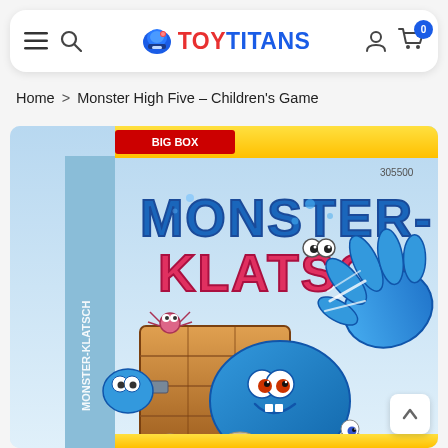TOY TITANS - navigation bar with hamburger menu, search icon, logo, account icon, cart with badge 0
Home > Monster High Five - Children's Game
[Figure (photo): Product box image of Monster-Klatsch children's game showing a blue cartoon monster character with a raised hand slapping, a wooden chest, small creatures and pebbles, on a light blue background. Item number 305500 visible on box.]